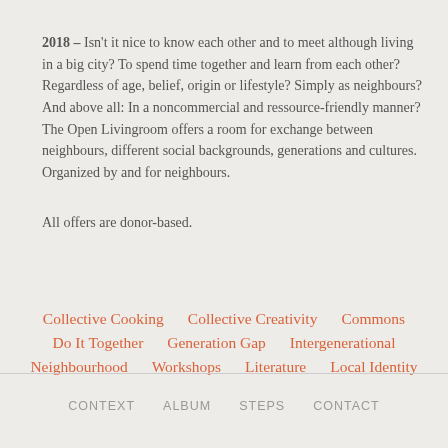2018 – Isn't it nice to know each other and to meet although living in a big city? To spend time together and learn from each other? Regardless of age, belief, origin or lifestyle? Simply as neighbours? And above all: In a noncommercial and ressource-friendly manner? The Open Livingroom offers a room for exchange between neighbours, different social backgrounds, generations and cultures. Organized by and for neighbours.
All offers are donor-based.
Collective Cooking   Collective Creativity   Commons   Do It Together   Generation Gap   Intergenerational   Neighbourhood   Workshops   Literature   Local Identity
CONTEXT   ALBUM   STEPS   CONTACT